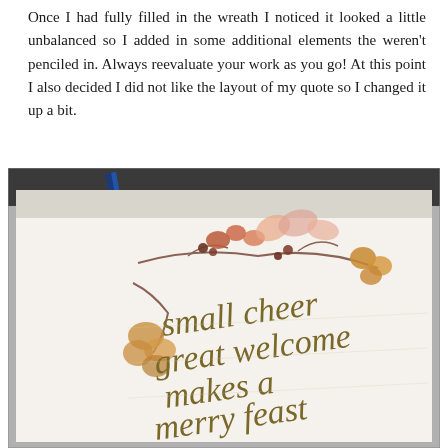Once I had fully filled in the wreath I noticed it looked a little unbalanced so I added in some additional elements the weren't penciled in. Always reevaluate your work as you go! At this point I also decided I did not like the layout of my quote so I changed it up a bit.
[Figure (photo): A photograph of a watercolor and calligraphy artwork on paper, showing a floral wreath with autumn-colored berries and leaves in peach, rust, and golden tones, with calligraphy text reading 'small cheer great welcome makes a merry feast'. A blue pen is visible at the top of the image.]